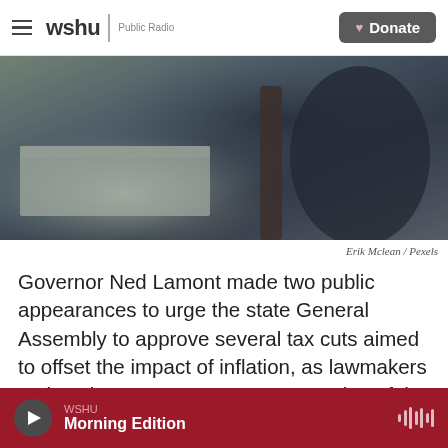wshu | Public Radio — Donate
[Figure (photo): Blurred outdoor photo, appears to show concrete steps or pavement with dark background elements, by Erik Mclean / Pexels]
Erik Mclean / Pexels
Governor Ned Lamont made two public appearances to urge the state General Assembly to approve several tax cuts aimed to offset the impact of inflation, as lawmakers took action on a temporary suspension of the state's 25-cent-a-gallon tax on gasoline on Wednesday.
Lamont's plan includes reduced motor vehicle…
WSHU Morning Edition